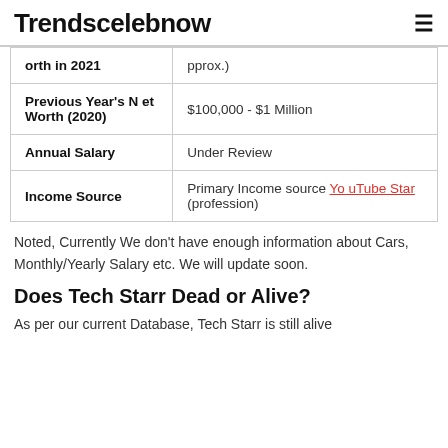Trendscelebnow
| Net Worth in 2021 | $100,000 - $1 Million (approx.) |
| Previous Year's Net Worth (2020) | $100,000 - $1 Million |
| Annual Salary | Under Review |
| Income Source | Primary Income source YouTube Star (profession) |
Noted, Currently We don't have enough information about Cars, Monthly/Yearly Salary etc. We will update soon.
Does Tech Starr Dead or Alive?
As per our current Database, Tech Starr is still alive